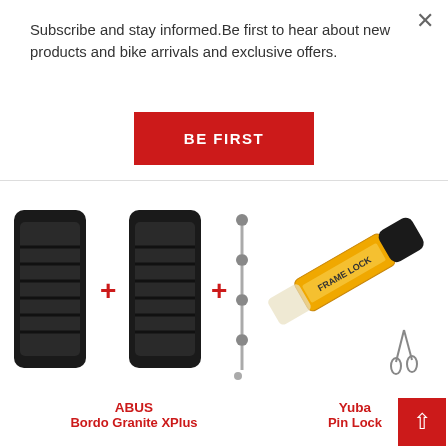Subscribe and stay informed.Be first to hear about new products and bike arrivals and exclusive offers.
[Figure (screenshot): Red 'BE FIRST' call-to-action button]
[Figure (photo): ABUS Bordo Granite XPlus folding locks (two black locks) with connector keys, showing red plus signs between components]
ABUS
Bordo Granite XPlus
[Figure (photo): Yuba Pin Lock - a yellow cylindrical frame lock with black cap and keys]
Yuba
Pin Lock